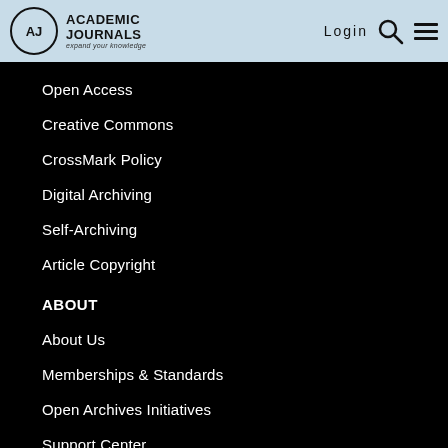[Figure (logo): Academic Journals logo with circle AJ monogram and tagline 'expand your knowledge']
Open Access
Creative Commons
CrossMark Policy
Digital Archiving
Self-Archiving
Article Copyright
ABOUT
About Us
Memberships & Standards
Open Archives Initiatives
Support Center
Subscribe to RSS
Terms of use